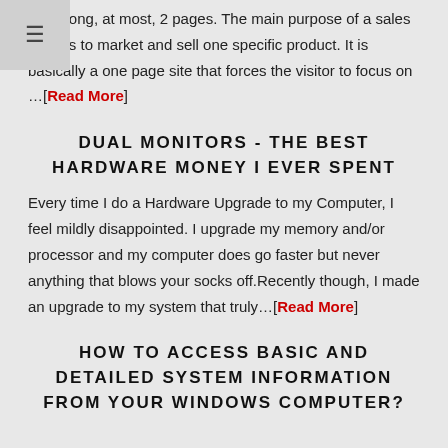The Sales Page website is considered a mini-website that is usually 1 page long, at most, 2 pages. The main purpose of a sales page is to market and sell one specific product. It is basically a one page site that forces the visitor to focus on …[Read More]
DUAL MONITORS - THE BEST HARDWARE MONEY I EVER SPENT
Every time I do a Hardware Upgrade to my Computer, I feel mildly disappointed. I upgrade my memory and/or processor and my computer does go faster but never anything that blows your socks off.Recently though, I made an upgrade to my system that truly…[Read More]
HOW TO ACCESS BASIC AND DETAILED SYSTEM INFORMATION FROM YOUR WINDOWS COMPUTER?